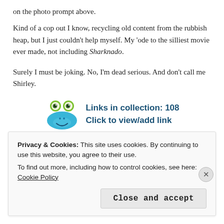on the photo prompt above.
Kind of a cop out I know, recycling old content from the rubbish heap, but I just couldn't help myself. My 'ode to the silliest movie ever made, not including Sharknado.
Surely I must be joking. No, I'm dead serious. And don't call me Shirley.
[Figure (illustration): Blue cartoon frog mascot with googly eyes next to text 'Links in collection: 108 / Click to view/add link']
[Figure (photo): Broken image placeholder with small landscape thumbnail icon]
Privacy & Cookies: This site uses cookies. By continuing to use this website, you agree to their use. To find out more, including how to control cookies, see here: Cookie Policy
Close and accept